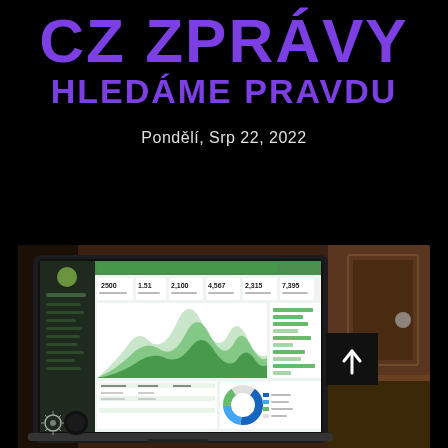CZ ZPRÁVY HLEDÁME PRAVDU
Pondělí, Srp 22, 2022
[Figure (screenshot): Laptop screen showing a web analytics dashboard with area charts displaying values like 2500, 1.51, 2,100, 4,567, 2,315, 7,395 and various tables and a donut chart. A dark wooden cabinet is visible in the background. A scroll-to-top button with an upward chevron is overlaid at the right of the image.]